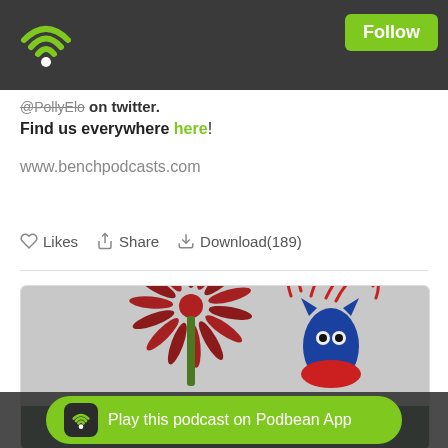[Figure (logo): Podbean WiFi-style podcast logo on dark header bar with green Follow button]
@PollyElo on twitter.
Find us everywhere here!
www.benchpodcasts.com
Likes  Share  Download(189)
[Figure (photo): Photo of two decorative figures/sculptures with red flower-like forms on dark background]
Play this podcast on Podbean App